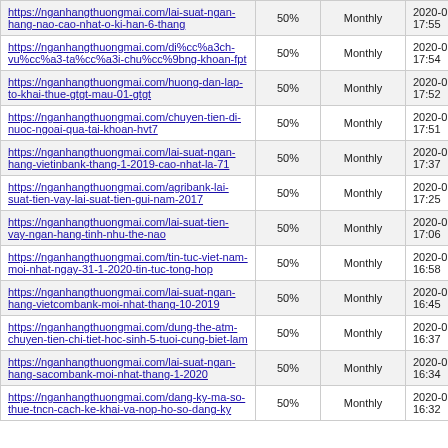| https://nganhangthuongmai.com/lai-suat-ngan-hang-nao-cao-nhat-o-ki-han-6-thang | 50% | Monthly | 2020-01-3 17:55 |
| https://nganhangthuongmai.com/di%cc%a3ch-vu%cc%a3-ta%cc%a3i-chu%cc%9bng-khoan-fpt | 50% | Monthly | 2020-01-3 17:54 |
| https://nganhangthuongmai.com/huong-dan-lap-to-khai-thue-gtgt-mau-01-gtgt | 50% | Monthly | 2020-01-3 17:52 |
| https://nganhangthuongmai.com/chuyen-tien-di-nuoc-ngoai-qua-tai-khoan-hvt7 | 50% | Monthly | 2020-01-3 17:51 |
| https://nganhangthuongmai.com/lai-suat-ngan-hang-vietinbank-thang-1-2019-cao-nhat-la-71 | 50% | Monthly | 2020-01-3 17:37 |
| https://nganhangthuongmai.com/agribank-lai-suat-tien-vay-lai-suat-tien-gui-nam-2017 | 50% | Monthly | 2020-01-3 17:25 |
| https://nganhangthuongmai.com/lai-suat-tien-vay-ngan-hang-tinh-nhu-the-nao | 50% | Monthly | 2020-01-3 17:06 |
| https://nganhangthuongmai.com/tin-tuc-viet-nam-moi-nhat-ngay-31-1-2020-tin-tuc-tong-hop | 50% | Monthly | 2020-01-3 16:58 |
| https://nganhangthuongmai.com/lai-suat-ngan-hang-vietcombank-moi-nhat-thang-10-2019 | 50% | Monthly | 2020-01-3 16:45 |
| https://nganhangthuongmai.com/dung-the-atm-chuyen-tien-chi-tiet-hoc-sinh-5-tuoi-cung-biet-lam | 50% | Monthly | 2020-01-3 16:37 |
| https://nganhangthuongmai.com/lai-suat-ngan-hang-sacombank-moi-nhat-thang-1-2020 | 50% | Monthly | 2020-01-3 16:34 |
| https://nganhangthuongmai.com/dang-ky-ma-so-thue-tncn-cach-ke-khai-va-nop-ho-so-dang-ky | 50% | Monthly | 2020-01-3 16:32 |